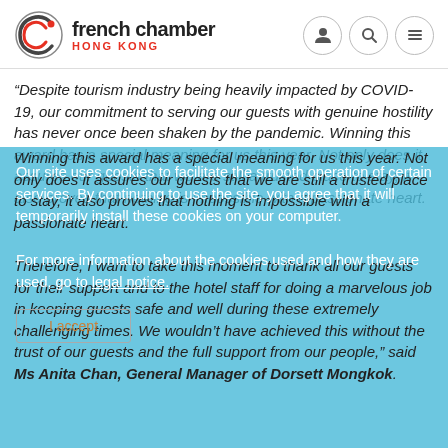french chamber HONG KONG
“Despite tourism industry being heavily impacted by COVID-19, our commitment to serving our guests with genuine hostility has never once been shaken by the pandemic. Winning this award has a special meaning for us this year. Not only does it assures our guests that we are still a trusted place to stay, it also proves that nothing is impossible with a passionate heart.

Therefore, I want to take this moment to thank all our guests for their support and to the hotel staff for doing a marvelous job in keeping guests safe and well during these extremely challenging times. We wouldn’t have achieved this without the trust of our guests and the full support from our people,” said Ms Anita Chan, General Manager of Dorsett Mongkok.
Our site uses cookies to facilitate the smooth operation of certain services. By continuing to use the site, you agree that it will temporarily install these cookies on your computer.

For more information about the cookies used and how they are used, go to legal notice.
I accept